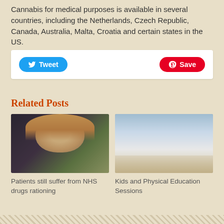Cannabis for medical purposes is available in several countries, including the Netherlands, Czech Republic, Canada, Australia, Malta, Croatia and certain states in the US.
[Figure (screenshot): Social share bar with Twitter Tweet button (blue, rounded) and Pinterest Save button (red, rounded)]
Related Posts
[Figure (photo): Woman with blonde hair wearing dark floral top, looking serious]
Patients still suffer from NHS drugs rationing
[Figure (photo): Children doing stretching exercises in a gym with an adult instructor]
Kids and Physical Education Sessions